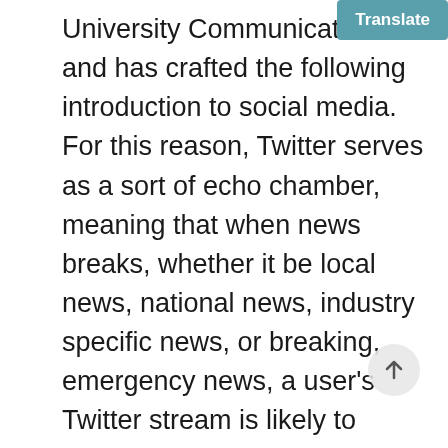University Communications and has crafted the following introduction to social media. For this reason, Twitter serves as a sort of echo chamber, meaning that when news breaks, whether it be local news, national news, industry specific news, or breaking, emergency news, a user's Twitter stream is likely to include a long list of tweets from users all of which are sharing, or reacting to, the same story. I learn a lot about everything on Skillshare – love it. Just one negative impression from your social media profile could disqualify you from a position. Internships can help